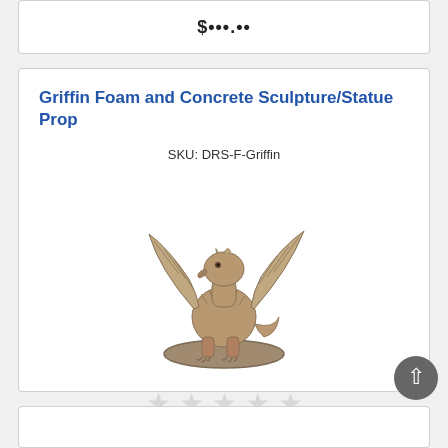$•••.••
Griffin Foam and Concrete Sculpture/Statue Prop
SKU: DRS-F-Griffin
[Figure (photo): A stone-textured griffin statue with wings spread, sitting on a round base. The griffin has an eagle head and lion body, rendered in grey-brown concrete-like material.]
Sign in to rate
$3450.00